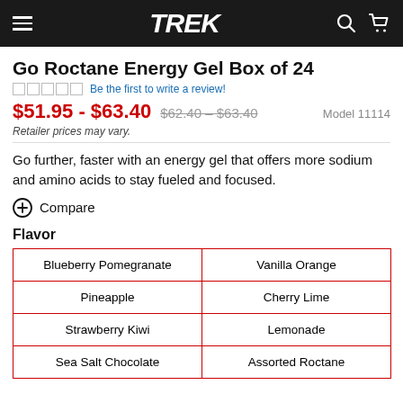TREK
Go Roctane Energy Gel Box of 24
Be the first to write a review!
$51.95 - $63.40   $62.40 – $63.40   Model 11114
Retailer prices may vary.
Go further, faster with an energy gel that offers more sodium and amino acids to stay fueled and focused.
Compare
Flavor
| Blueberry Pomegranate | Vanilla Orange |
| Pineapple | Cherry Lime |
| Strawberry Kiwi | Lemonade |
| Sea Salt Chocolate | Assorted Roctane |